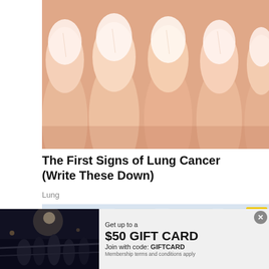[Figure (photo): Close-up photograph of human fingernails, showing healthy-looking nails on fingers from a frontal view]
The First Signs of Lung Cancer (Write These Down)
Lung
[Figure (photo): Interior of a retail store (appears to be a Sprint or similar telecom store) with yellow pillars, ceiling lights, and a yellow balloon]
[Figure (photo): Advertisement banner: Get up to a $50 GIFT CARD, Join with code: GIFTCARD, Membership terms and conditions apply]